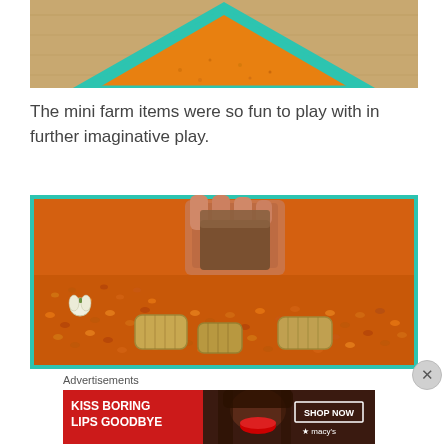[Figure (photo): Top portion of a teal/turquoise tray filled with orange cornmeal or sand for sensory play with small farm items, viewed from above on a wooden floor]
The mini farm items were so fun to play with in further imaginative play.
[Figure (photo): Close-up photo of a teal tray filled with orange/red lentils as sensory bin filler, with small hay bales and a miniature pumpkin; a child's hand is holding a small barn or farm building object]
Advertisements
[Figure (other): Advertisement banner: red background with a woman's face showing red lips, text 'KISS BORING LIPS GOODBYE' with 'SHOP NOW' button and Macy's star logo]